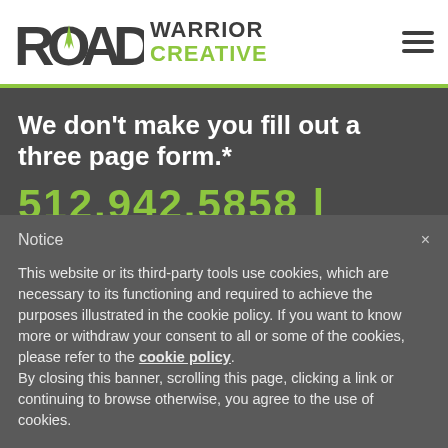[Figure (logo): Road Warrior Creative logo with road/compass icon and green 'CREATIVE' text]
We don't make you fill out a three page form.*
512.942.5858 |
Notice
This website or its third-party tools use cookies, which are necessary to its functioning and required to achieve the purposes illustrated in the cookie policy. If you want to know more or withdraw your consent to all or some of the cookies, please refer to the cookie policy. By closing this banner, scrolling this page, clicking a link or continuing to browse otherwise, you agree to the use of cookies.